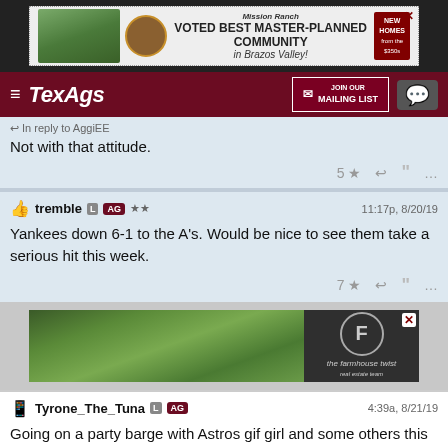[Figure (screenshot): Top advertisement banner for Mission Ranch - Voted Best Master-Planned Community in Brazos Valley with New Homes from the $350s]
[Figure (screenshot): TexAgs navigation bar with hamburger menu, TexAgs logo, Join Our Mailing List button, and chat icon]
In reply to AggiEE
Not with that attitude.
5 ★ ↩ ❝ …
tremble L AG ★★  11:17p, 8/20/19
Yankees down 6-1 to the A's. Would be nice to see them take a serious hit this week.
7 ★ ↩ ❝ …
[Figure (screenshot): Advertisement for The Farmhouse Twist real estate team, showing a golf course or green landscape]
Tyrone_The_Tuna L AG  4:39a, 8/21/19
Going on a party barge with Astros gif girl and some others this weekend. What y'all want me to ask her?